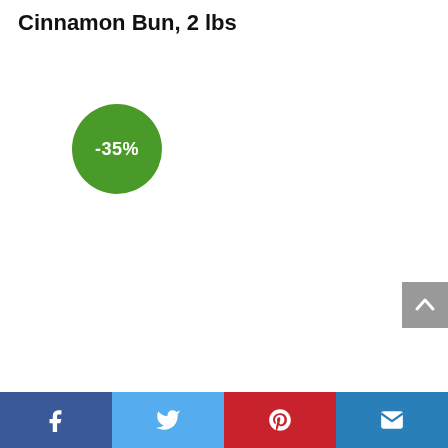Cinnamon Bun, 2 lbs
[Figure (infographic): Green circular badge/label showing -35% discount]
[Figure (other): Back to top button (grey chevron up arrow)]
[Figure (other): Social sharing bar with Facebook, Twitter, Pinterest, and Email buttons]